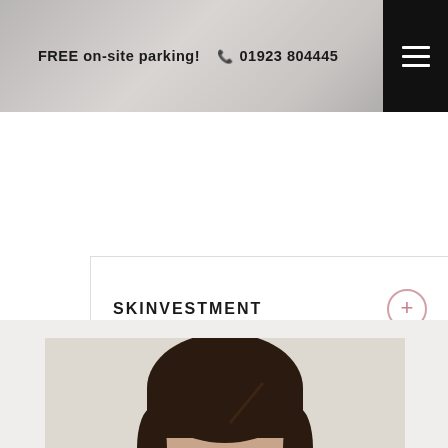FREE on-site parking!  📞 01923 804445
SKINVESTMENT
JOIN NOW | £95pm
[Figure (photo): Woman applying skincare product, close-up of face from forehead down, neutral background]